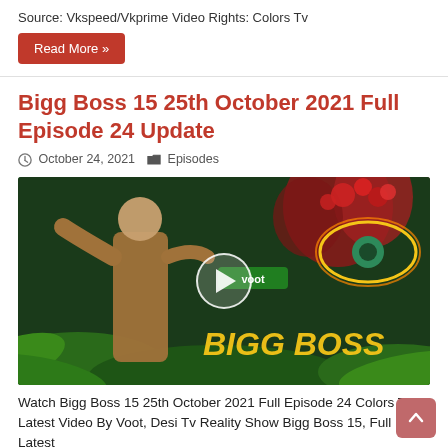Source: Vkspeed/Vkprime Video Rights: Colors Tv
Read More »
Bigg Boss 15 25th October 2021 Full Episode 24 Update
October 24, 2021  Episodes
[Figure (photo): Promotional video thumbnail for Bigg Boss 15, showing a man in a brown shirt in a jungle setting with the BIGG BOSS logo, a play button overlay in the center, and red flowering trees in the background.]
Watch Bigg Boss 15 25th October 2021 Full Episode 24 Colors Tv Latest Video By Voot, Desi Tv Reality Show Bigg Boss 15, Full HD Latest